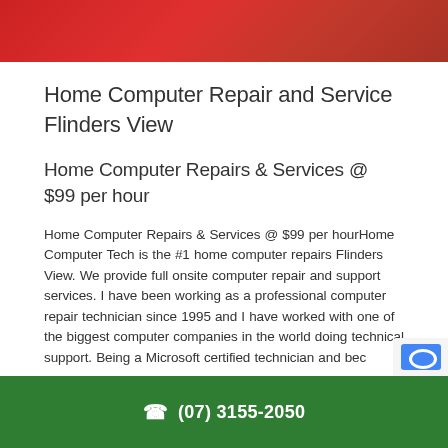[Figure (illustration): Red gradient header banner at top of page]
Home Computer Repair and Service Flinders View
Home Computer Repairs & Services @ $99 per hour
Home Computer Repairs & Services @ $99 per hourHome Computer Tech is the #1 home computer repairs Flinders View. We provide full onsite computer repair and support services. I have been working as a professional computer repair technician since 1995 and I have worked with one of the biggest computer companies in the world doing technical support. Being a Microsoft certified technician and bec
(07) 3155-2050